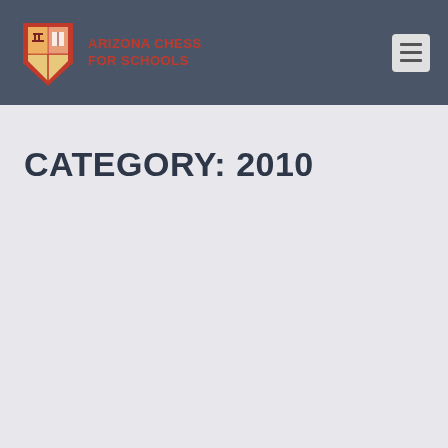Arizona Chess for Schools
CATEGORY: 2010